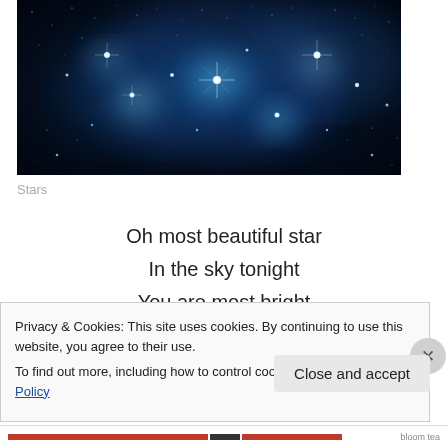[Figure (photo): Photograph of the Pleiades star cluster — bright blue stars surrounded by nebula glow against a dark space background.]
Stars
Oh most beautiful star
In the sky tonight
You are most bright
Privacy & Cookies: This site uses cookies. By continuing to use this website, you agree to their use.
To find out more, including how to control cookies, see here: Cookie Policy
Close and accept